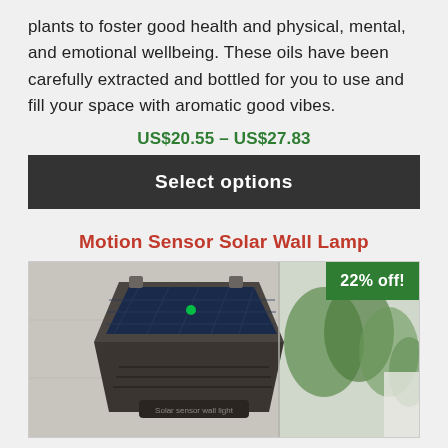plants to foster good health and physical, mental, and emotional wellbeing. These oils have been carefully extracted and bottled for you to use and fill your space with aromatic good vibes.
US$20.55 – US$27.83
Select options
Motion Sensor Solar Wall Lamp
[Figure (photo): A solar-powered motion sensor wall lamp mounted on a concrete wall, with a solar panel visible on top and a text label reading 'Solar sensor wall light'. A blurred outdoor background with greenery is visible on the right side.]
22% off!